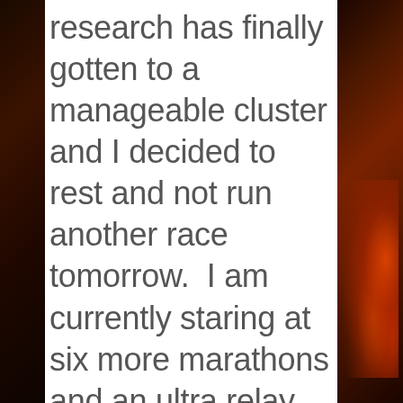research has finally gotten to a manageable cluster and I decided to rest and not run another race tomorrow.  I am currently staring at six more marathons and an ultra relay before October's end. So with this free time, where to begin?